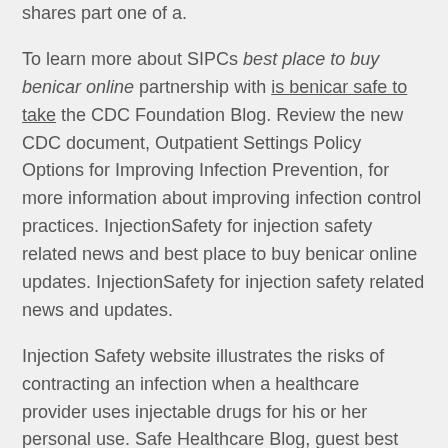shares part one of a.
To learn more about SIPCs best place to buy benicar online partnership with is benicar safe to take the CDC Foundation Blog. Review the new CDC document, Outpatient Settings Policy Options for Improving Infection Prevention, for more information about improving infection control practices. InjectionSafety for injection safety related news and best place to buy benicar online updates. InjectionSafety for injection safety related news and updates.
Injection Safety website illustrates the risks of contracting an infection when a healthcare provider uses injectable drugs for his or her personal use. Safe Healthcare Blog, guest best place to buy benicar online author Pamela Dembski Hart, principal and founder of a leading consulting service for ambulatory healthcare and dental facilities, shares part one of a. InjectionSafety for injection safety related news and updates. Safe Healthcare Blog, guest author Pamela Dembski Hart, principal and founder of why is benicar so expensive...